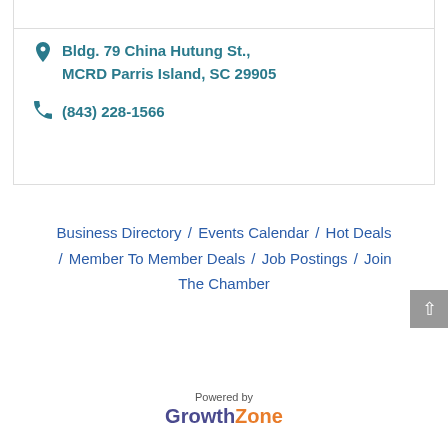Bldg. 79 China Hutung St., MCRD Parris Island, SC 29905
(843) 228-1566
Business Directory / Events Calendar / Hot Deals / Member To Member Deals / Job Postings / Join The Chamber
[Figure (logo): Powered by GrowthZone logo with 'Growth' in purple and 'Zone' in orange]